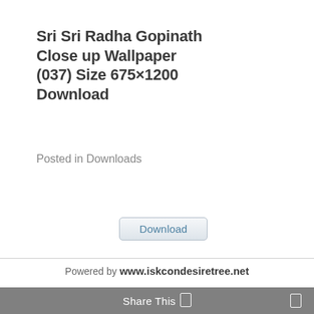Sri Sri Radha Gopinath Close up Wallpaper (037) Size 675×1200 Download
Posted in Downloads
[Figure (other): Download button — a rounded rectangle button with the label 'Download' in blue text on a light gray gradient background]
Powered by www.iskcondesiretree.net
Share This